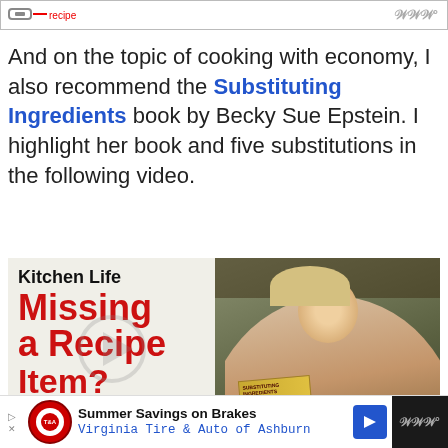[Figure (screenshot): Top navigation bar with arrow/map icon and red text on white background, with weather icon (WWW) top right]
And on the topic of cooking with economy, I also recommend the Substituting Ingredients book by Becky Sue Epstein. I highlight her book and five substitutions in the following video.
[Figure (screenshot): Video thumbnail showing 'Kitchen Life' header with 'Missing a Recipe Item?' in red text on left panel, and a smiling blonde woman holding a book titled 'Substituting Ingredients' on the right panel. A circular play button overlay is visible.]
[Figure (screenshot): Advertisement bar at bottom: 'Summer Savings on Brakes' by Virginia Tire & Auto of Ashburn, with Tire & Auto logo, blue arrow icon, and weather widget on right]